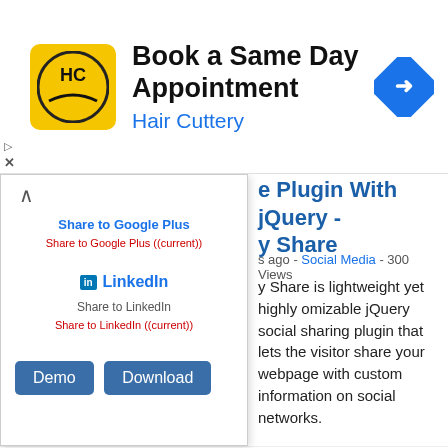[Figure (screenshot): Advertisement banner for Hair Cuttery with logo, text 'Book a Same Day Appointment' and 'Hair Cuttery', and a navigation icon]
[Figure (screenshot): Dropdown share menu showing Share to Google Plus and LinkedIn sharing options]
e Plugin With jQuery - y Share
s ago - Social Media - 300 Views
Share is lightweight yet highly omizable jQuery social sharing plugin that lets the visitor share your webpage with custom information on social networks.
[Figure (screenshot): Demo and Download buttons]
jQuery Plugin For Easily nfigurable Social Buttons - cialShare.js
s ago - Social Media - 5047 Views
alShare.js is a jQuery plugin to
[Figure (screenshot): Social share plugin preview showing 3.8M and 53.9K share counts with Facebook and Google Plus buttons]